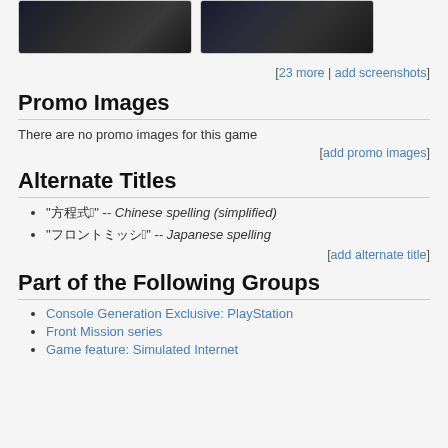[Figure (screenshot): Two dark game screenshots side by side]
[23 more | add screenshots]
Promo Images
There are no promo images for this game
[add promo images]
Alternate Titles
"□□□□3" -- Chinese spelling (simplified)
"□□□□□□□□3" -- Japanese spelling
[add alternate title]
Part of the Following Groups
Console Generation Exclusive: PlayStation
Front Mission series
Game feature: Simulated Internet